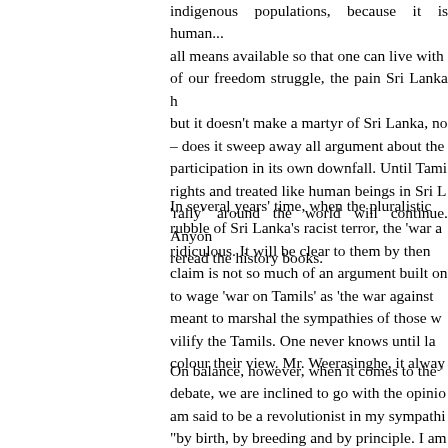indigenous populations, because it is human... all means available so that one can live with of our freedom struggle, the pain Sri Lanka h but it doesn't make a martyr of Sri Lanka, no – does it sweep away all argument about the participation in its own downfall. Until Tami rights and treated like human beings in Sri L 'rally' around the world will continue. Anyon reread the history books.
In several years' time, when the pluralistic rubble of Sri Lanka's racist terror, the 'war a ridiculous. It will be clear to them by then claim is not so much of an argument built on to wage 'war on Tamils' as 'the war against meant to marshal the sympathies of those v vilify the Tamils. One never knows until la colour their view. Mr. Weerasinghe, it alway
On balance, however, when it comes to the ' debate, we are inclined to go with the opinio am said to be a revolutionist in my sympathi "by birth, by breeding and by principle. I am revolutionists, because there never was a rev oppressive and intolerable conditions agains